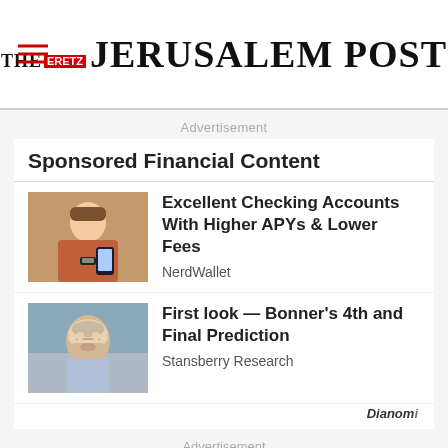THE JERUSALEM POST
Advertisement
Sponsored Financial Content
[Figure (photo): Woman smiling and looking at a smartphone, holding a credit card]
Excellent Checking Accounts With Higher APYs & Lower Fees
NerdWallet
[Figure (photo): Older bald man with serious expression, background with blue/teal tones]
First look — Bonner's 4th and Final Prediction
Stansberry Research
Dianomi
Advertisement